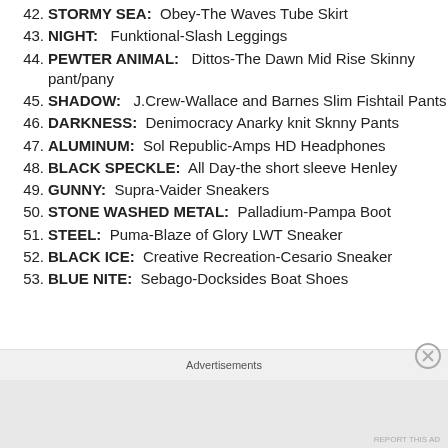42. STORMY SEA:   Obey-The Waves Tube Skirt
43. NIGHT:   Funktional-Slash Leggings
44. PEWTER ANIMAL:   Dittos-The Dawn Mid Rise Skinny pant/pany
45. SHADOW:   J.Crew-Wallace and Barnes Slim Fishtail Pants
46. DARKNESS:  Denimocracy Anarky knit Sknny Pants
47. ALUMINUM:  Sol Republic-Amps HD Headphones
48. BLACK SPECKLE:  All Day-the short sleeve Henley
49. GUNNY:  Supra-Vaider Sneakers
50. STONE WASHED METAL:  Palladium-Pampa Boot
51. STEEL:  Puma-Blaze of Glory LWT Sneaker
52. BLACK ICE:  Creative Recreation-Cesario Sneaker
53. BLUE NITE:  Sebago-Docksides Boat Shoes
Advertisements
REPORT THIS AD